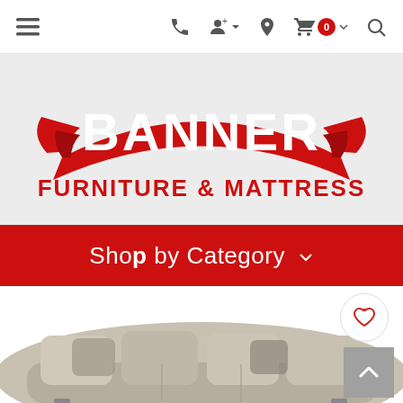Navigation bar with hamburger menu, phone, account, location, cart (0), and search icons
[Figure (logo): Banner Furniture & Mattress logo: red ribbon banner with BANNER in white bold text, FURNITURE & MATTRESS in red below on light gray background]
Shop by Category ▾
[Figure (photo): Sofa/sectional couch in gray-beige with decorative pillows, partially visible at bottom of page]
[Figure (other): Heart/wishlist icon button (circular, white with red heart outline)]
[Figure (other): Scroll-to-top button (gray square with white up chevron)]